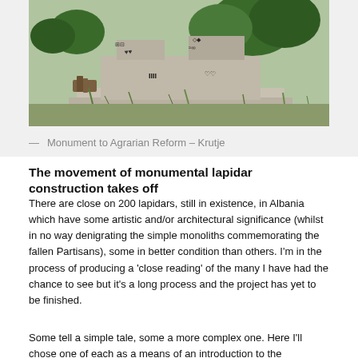[Figure (photo): Photograph of a monument to Agrarian Reform in Krutje, Albania — a concrete structure covered in graffiti, with trees in the background and overgrown vegetation in the foreground.]
— Monument to Agrarian Reform – Krutje
The movement of monumental lapidar construction takes off
There are close on 200 lapidars, still in existence, in Albania which have some artistic and/or architectural significance (whilst in no way denigrating the simple monoliths commemorating the fallen Partisans), some in better condition than others. I'm in the process of producing a 'close reading' of the many I have had the chance to see but it's a long process and the project has yet to be finished.
Some tell a simple tale, some a more complex one. Here I'll chose one of each as a means of an introduction to the